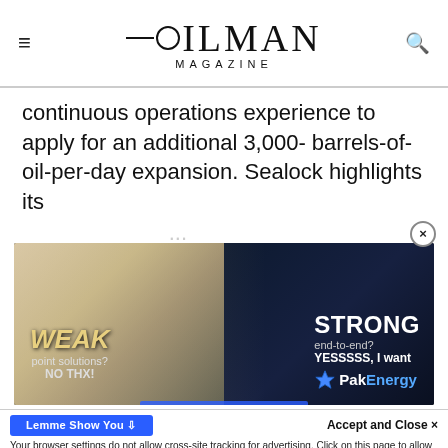OILMAN MAGAZINE
continuous operations experience to apply for an additional 3,000- barrels-of-oil-per-day expansion. Sealock highlights its
[Figure (photo): Advertisement for PakEnergy showing split image of white cat and blue wolf with text: WEAK point solutions? NO THX! vs STRONG end-to-end? YESSSSS, I want PakEnergy]
Accept and Close ×
Your browser settings do not allow cross-site tracking for advertising. Click on this page to allow AdRoll to use cross-site tracking to tailor ads to you. Learn more or opt out of this AdRoll tracking by clicking here. This message only appears once.
access as well as best-ad global essential